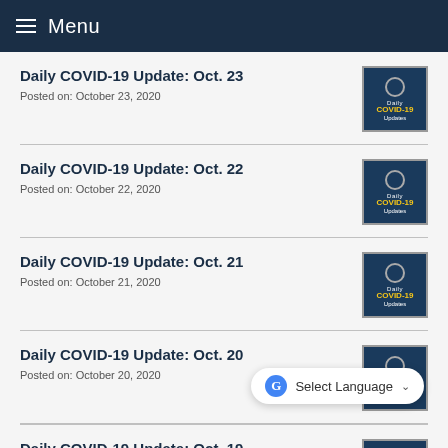Menu
Daily COVID-19 Update: Oct. 23
Posted on: October 23, 2020
Daily COVID-19 Update: Oct. 22
Posted on: October 22, 2020
Daily COVID-19 Update: Oct. 21
Posted on: October 21, 2020
Daily COVID-19 Update: Oct. 20
Posted on: October 20, 2020
Daily COVID-19 Update: Oct. 19
Posted on: October 19, 2020